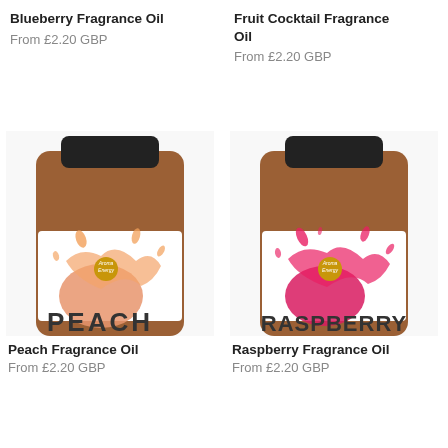Blueberry Fragrance Oil
From £2.20 GBP
Fruit Cocktail Fragrance Oil
From £2.20 GBP
[Figure (photo): Amber glass jar with white label showing peach splash graphic and 'PEACH' text, Aroma Energy logo]
[Figure (photo): Amber glass jar with white label showing raspberry splash graphic and 'RASPBERRY' text, Aroma Energy logo]
Peach Fragrance Oil
From £2.20 GBP
Raspberry Fragrance Oil
From £2.20 GBP